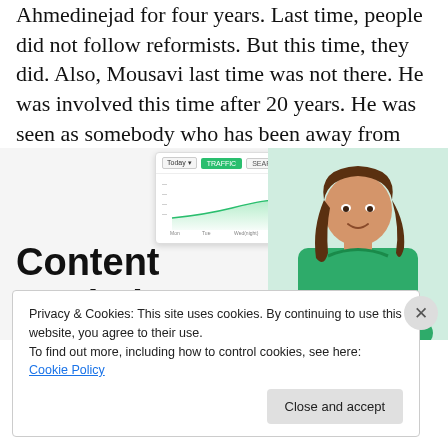Ahmedinejad for four years. Last time, people did not follow reformists. But this time, they did. Also, Mousavi last time was not there. He was involved this time after 20 years. He was seen as somebody who has been away from power for so long.
[Figure (screenshot): Content Analytics Made Easy advertisement with analytics dashboard screenshot and photo of smiling woman in green top]
Privacy & Cookies: This site uses cookies. By continuing to use this website, you agree to their use.
To find out more, including how to control cookies, see here: Cookie Policy
Close and accept